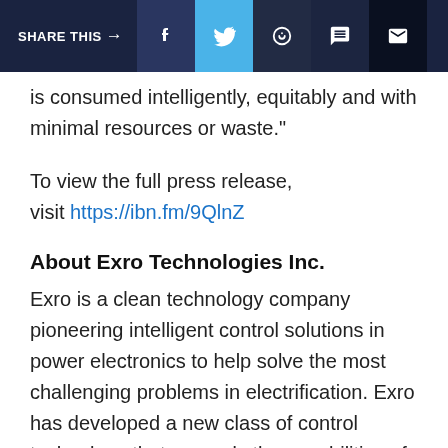SHARE THIS →  f  🐦  ©  💬  ✉
is consumed intelligently, equitably and with minimal resources or waste."
To view the full press release, visit https://ibn.fm/9QlnZ
About Exro Technologies Inc.
Exro is a clean technology company pioneering intelligent control solutions in power electronics to help solve the most challenging problems in electrification. Exro has developed a new class of control technology that expands the capabilities of electric motors, generators and batteries.